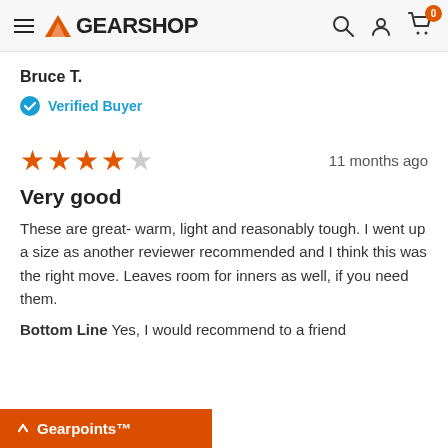GEARSHOP
Bruce T.
Verified Buyer
[Figure (other): 4 out of 5 star rating with timestamp '11 months ago']
Very good
These are great- warm, light and reasonably tough. I went up a size as another reviewer recommended and I think this was the right move. Leaves room for inners as well, if you need them.
Bottom Line  Yes, I would recommend to a friend
Gearpoints™